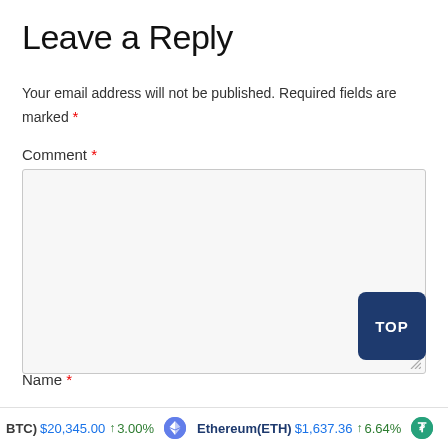Leave a Reply
Your email address will not be published. Required fields are marked *
Comment *
[Figure (screenshot): Empty comment textarea form field with light gray background and border]
Name *
BTC $20,345.00 ↑ 3.00% Ethereum(ETH) $1,637.36 ↑ 6.64%